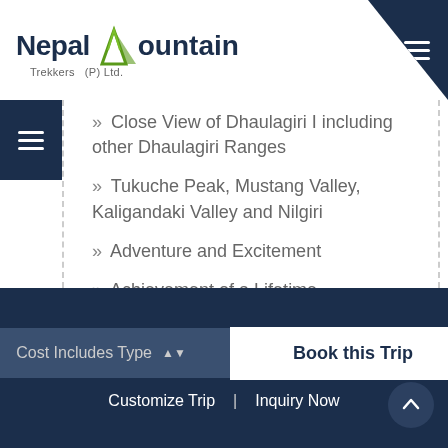Nepal Mountain Trekkers (P) Ltd.
Close View of Dhaulagiri I including other Dhaulagiri Ranges
Tukuche Peak, Mustang Valley, Kaligandaki Valley and Nilgiri
Adventure and Excitement
Achievement of a Lifetime
Blissful Nature
Prayer Flags
Yaks
Cost Includes Type | Book this Trip | Customize Trip | Inquiry Now